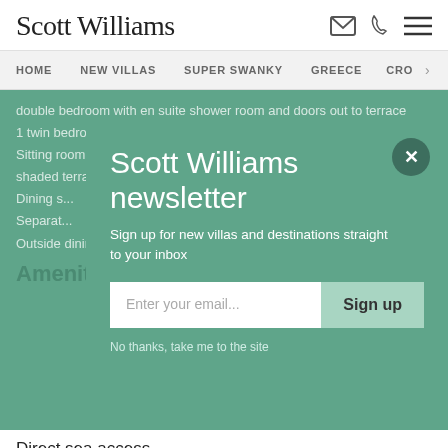Scott Williams
HOME  NEW VILLAS  SUPER SWANKY  GREECE  CRO >
double bedroom with en suite shower room and doors out to terrace
1 twin bedroom with en suite bathroom and doors to terrace
Sitting room with fireplace and terrace doors out to the garden and shaded terrace
Dining s...
Separat...
Outside dining area
Scott Williams newsletter
Sign up for new villas and destinations straight to your inbox
Enter your email...
Sign up
No thanks, take me to the site
Amenities
Direct sea access